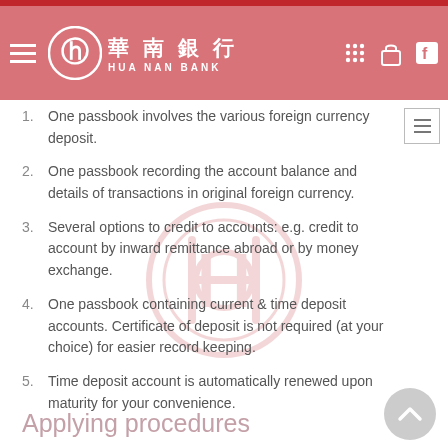Hua Nan Bank
One passbook involves the various foreign currency deposit.
One passbook recording the account balance and details of transactions in original foreign currency.
Several options to credit to accounts: e.g. credit to account by inward remittance abroad or by money exchange.
One passbook containing current & time deposit accounts. Certificate of deposit is not required (at your choice) for easier record keeping.
Time deposit account is automatically renewed upon maturity for your convenience.
Applying procedures